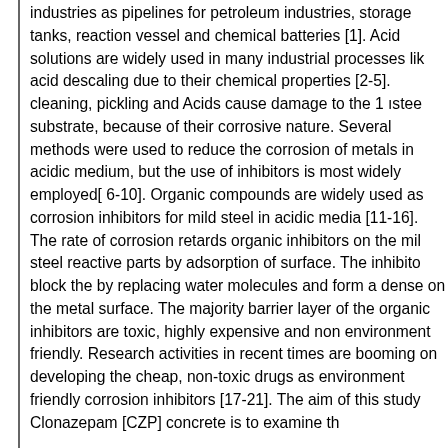industries as pipelines for petroleum industries, storage tanks, reaction vessel and chemical batteries [1]. Acid solutions are widely used in many industrial processes like acid descaling due to their chemical properties [2-5]. cleaning, pickling and Acids cause damage to the 1 steel substrate, because of their corrosive nature. Several methods were used to reduce the corrosion of metals in acidic medium, but the use of inhibitors is most widely employed[ 6-10]. Organic compounds are widely used as corrosion inhibitors for mild steel in acidic media [11-16]. The rate of corrosion retards organic inhibitors on the mild steel reactive parts by adsorption of surface. The inhibitors block the by replacing water molecules and form a dense on the metal surface. The majority barrier layer of the organic inhibitors are toxic, highly expensive and non environment friendly. Research activities in recent times are booming on developing the cheap, non-toxic drugs as environment friendly corrosion inhibitors [17-21]. The aim of this study Clonazepam [CZP] concrete is to examine th